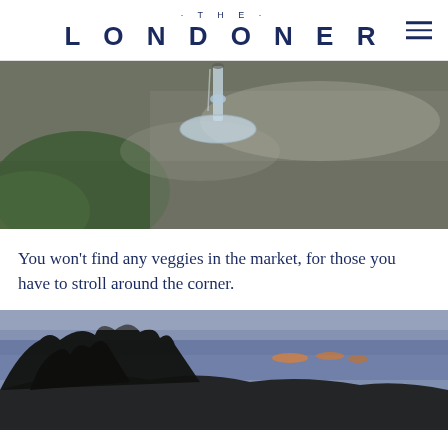· THE · LONDONER
[Figure (photo): Close-up blurred photo of an upside-down wine glass stem and base with out-of-focus green foliage and grey background]
You won't find any veggies in the market, for those you have to stroll around the corner.
[Figure (photo): Outdoor dusk/sunset photo with dark silhouetted trees against a blue-purple sky with faint warm glowing lights in the distance]